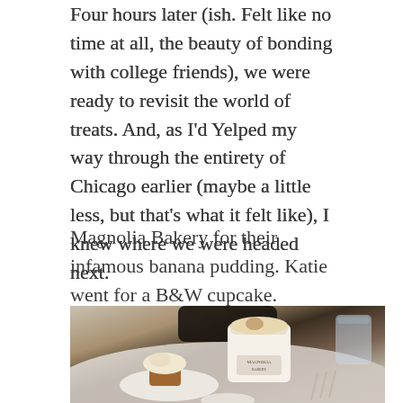Four hours later (ish. Felt like no time at all, the beauty of bonding with college friends), we were ready to revisit the world of treats. And, as I'd Yelped my way through the entirety of Chicago earlier (maybe a little less, but that's what it felt like), I knew where we were headed next.
Magnolia Bakery for their infamous banana pudding. Katie went for a B&W cupcake.
[Figure (photo): Photo of a Magnolia Bakery banana pudding cup and a B&W cupcake on a plate, on a marble table with a glass of water and forks visible.]